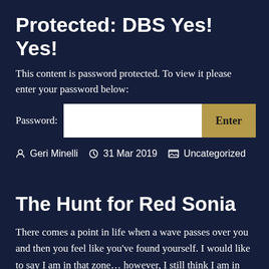Protected: DBS Yes! Yes!
This content is password protected. To view it please enter your password below:
Password: [input field] Enter
Geri Minelli  31 Mar 2019  Uncategorized
The Hunt for Red Sonia
There comes a point in life when a wave passes over you and then you feel like you've found yourself. I would like to say I am in that zone… however, I still think I am in